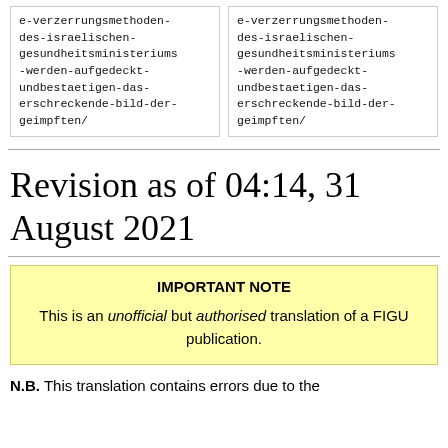| e-verzerrungsmethoden-
des-israelischen-
gesundheitsministeriums
-werden-aufgedeckt-
undbestaetigen-das-
erschreckende-bild-der-
geimpften/ | e-verzerrungsmethoden-
des-israelischen-
gesundheitsministeriums
-werden-aufgedeckt-
undbestaetigen-das-
erschreckende-bild-der-
geimpften/ |
Revision as of 04:14, 31 August 2021
IMPORTANT NOTE
This is an unofficial but authorised translation of a FIGU publication.
N.B. This translation contains errors due to the